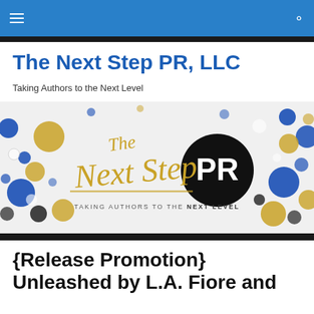The Next Step PR, LLC — navigation bar
The Next Step PR, LLC
Taking Authors to the Next Level
[Figure (logo): The Next Step PR banner logo with gold script text 'The Next Step' and bold 'PR' in white on black circle, with blue and gold decorative dots. Tagline: TAKING AUTHORS TO THE NEXT LEVEL]
{Release Promotion} Unleashed by L.A. Fiore and